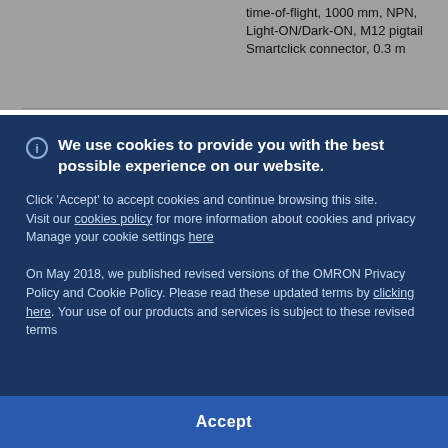time-of-flight, 1000 mm, NPN, Light-ON/Dark-ON, M12 pigtail Smartclick connector, 0.3 m
We use cookies to provide you with the best possible experience on our website. Click 'Accept' to accept cookies and continue browsing this site. Visit our cookies policy for more information about cookies and privacy. Manage your cookie settings here
On May 2018, we published revised versions of the OMRON Privacy Policy and Cookie Policy. Please read these updated terms by clicking here. Your use of our products and services is subject to these revised terms
Accept